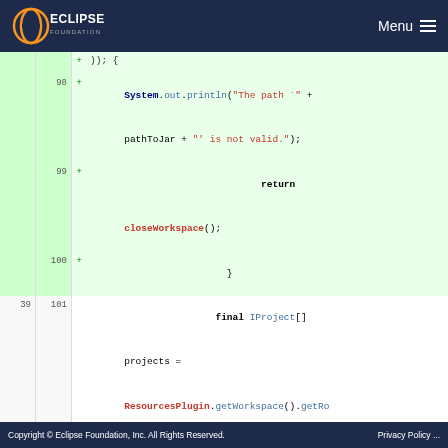Eclipse Foundation - Menu
[Figure (screenshot): Code diff view showing Java source code with line numbers. Green rows (added lines 98-100) show System.out.println with string about path not valid, return closeWorkspace(), and closing brace. Normal rows (lines 39/101, 40/102) show IProject[] projects assignment and for loop. Red row (line 41) shows removed if condition with project != null && project.getName().equals(projectNames[0]). Green row (line 103) shows added equivalent if condition.]
Copyright © Eclipse Foundation, Inc. All Rights Reserved. Privacy Policy ...